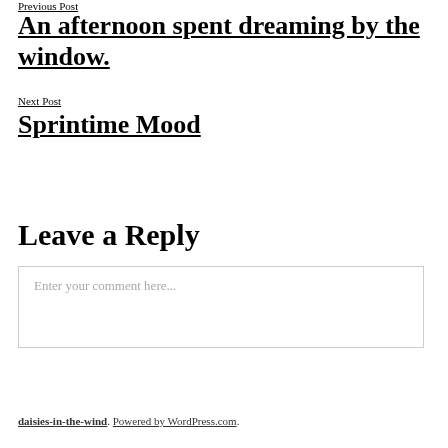Previous Post
An afternoon spent dreaming by the window.
Next Post
Sprintime Mood
Leave a Reply
Enter your comment here...
daisies-in-the-wind. Powered by WordPress.com.